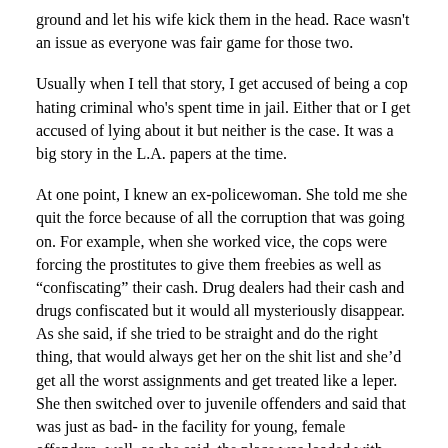ground and let his wife kick them in the head. Race wasn't an issue as everyone was fair game for those two.
Usually when I tell that story, I get accused of being a cop hating criminal who's spent time in jail. Either that or I get accused of lying about it but neither is the case. It was a big story in the L.A. papers at the time.
At one point, I knew an ex-policewoman. She told me she quit the force because of all the corruption that was going on. For example, when she worked vice, the cops were forcing the prostitutes to give them freebies as well as "confiscating" their cash. Drug dealers had their cash and drugs confiscated but it would all mysteriously disappear. As she said, if she tried to be straight and do the right thing, that would always get her on the shit list and she'd get all the worst assignments and get treated like a leper. She then switched over to juvenile offenders and said that was just as bad- in the facility for young, female offenders- well, as she said, the place was loaded with bull-dyke cops who'd molest/rape the kids. So, she quit the force and